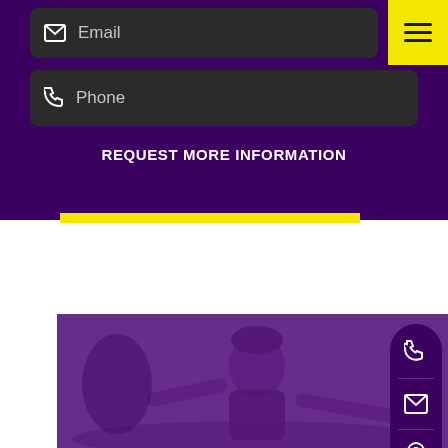Email
Phone
REQUEST MORE INFORMATION
[Figure (screenshot): Website UI screenshot showing email and phone input bars on dark purple background, a yellow horizontal bar divider, white space section, and a purple-tinted photo of a smiling child in a patterned outfit, with floating action buttons (phone, email, location) on the right side.]